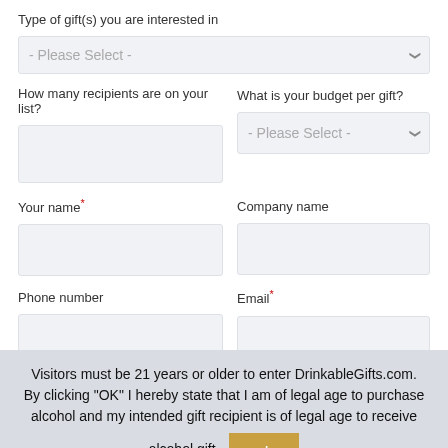Type of gift(s) you are interested in
[Figure (screenshot): Dropdown select field with placeholder '- Please Select -' for gift type]
How many recipients are on your list?
[Figure (screenshot): Text input box for number of recipients]
What is your budget per gift?
[Figure (screenshot): Dropdown select field with placeholder '- Please Select -' for budget per gift]
Your name*
[Figure (screenshot): Text input box for your name]
Company name
[Figure (screenshot): Text input box for company name]
Phone number
[Figure (screenshot): Text input box for phone number]
Email*
[Figure (screenshot): Text input box for email]
Visitors must be 21 years or older to enter DrinkableGifts.com. By clicking "OK" I hereby state that I am of legal age to purchase alcohol and my intended gift recipient is of legal age to receive alcohol gift.
[Figure (screenshot): OK button in gold/tan color]